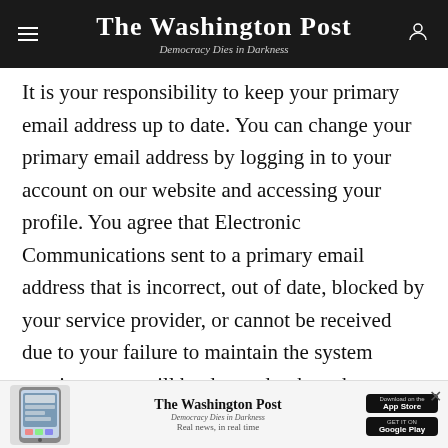The Washington Post — Democracy Dies in Darkness
It is your responsibility to keep your primary email address up to date. You can change your primary email address by logging in to your account on our website and accessing your profile. You agree that Electronic Communications sent to a primary email address that is incorrect, out of date, blocked by your service provider, or cannot be received due to your failure to maintain the system requirements, will be deemed to have been provided to you. If an Electronic Communication is returned to us because an email your address becomes invalid, we may deem your subscription to be inactive, and you will not receive or have access to your
[Figure (screenshot): Washington Post app advertisement banner with phone graphic, app store badges for Apple App Store and Google Play, and close button]